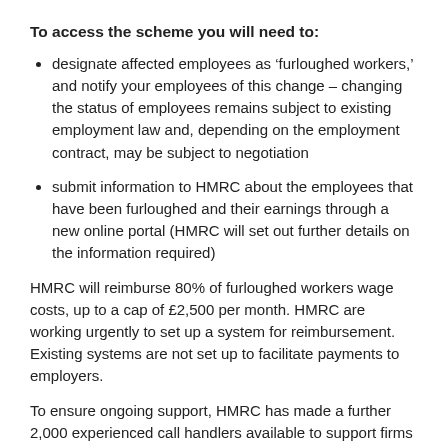To access the scheme you will need to:
designate affected employees as ‘furloughed workers,’ and notify your employees of this change – changing the status of employees remains subject to existing employment law and, depending on the employment contract, may be subject to negotiation
submit information to HMRC about the employees that have been furloughed and their earnings through a new online portal (HMRC will set out further details on the information required)
HMRC will reimburse 80% of furloughed workers wage costs, up to a cap of £2,500 per month. HMRC are working urgently to set up a system for reimbursement. Existing systems are not set up to facilitate payments to employers.
To ensure ongoing support, HMRC has made a further 2,000 experienced call handlers available to support firms and individuals when needed. If you need help call HMRC’s